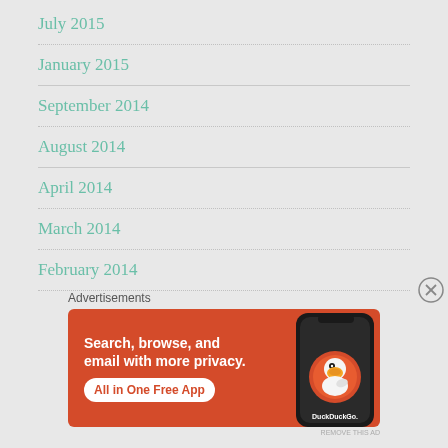July 2015
January 2015
September 2014
August 2014
April 2014
March 2014
February 2014
Advertisements
[Figure (illustration): DuckDuckGo advertisement banner with orange background. Text: 'Search, browse, and email with more privacy. All in One Free App' with a phone showing DuckDuckGo logo.]